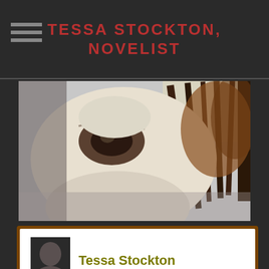TESSA STOCKTON, NOVELIST
[Figure (photo): Close-up photo of a white horse's face and eye with dark mane visible]
Tessa Stockton
August 15
Tessa Stockton wrote a new blog post:
Still God
Still God
I stood beside a long and bare banquet table. The Lord stood on the other side. I